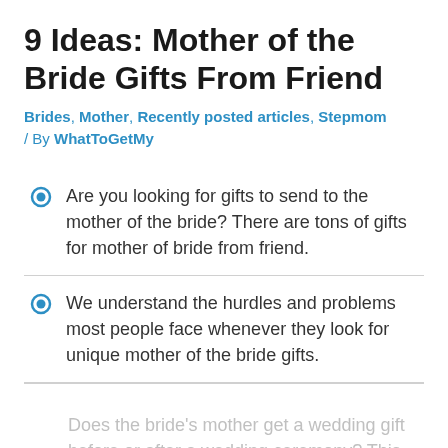9 Ideas: Mother of the Bride Gifts From Friend
Brides, Mother, Recently posted articles, Stepmom / By WhatToGetMy
Are you looking for gifts to send to the mother of the bride? There are tons of gifts for mother of bride from friend.
We understand the hurdles and problems most people face whenever they look for unique mother of the bride gifts.
Does the bride's mother get a wedding gift before or after a wedding ceremony? This